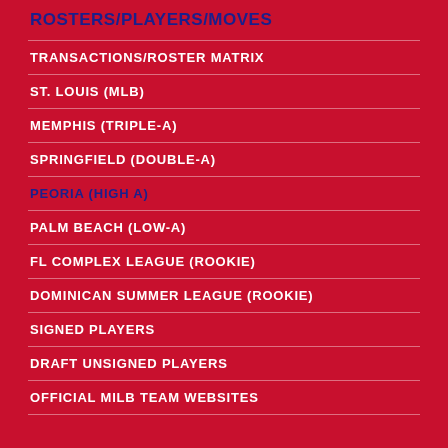ROSTERS/PLAYERS/MOVES
TRANSACTIONS/ROSTER MATRIX
ST. LOUIS (MLB)
MEMPHIS (TRIPLE-A)
SPRINGFIELD (DOUBLE-A)
PEORIA (HIGH A)
PALM BEACH (LOW-A)
FL COMPLEX LEAGUE (ROOKIE)
DOMINICAN SUMMER LEAGUE (ROOKIE)
SIGNED PLAYERS
DRAFT UNSIGNED PLAYERS
OFFICIAL MILB TEAM WEBSITES